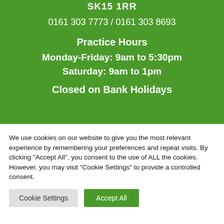SK15 1RR
0161 303 7773 / 0161 303 8693
Practice Hours
Monday-Friday: 9am to 5:30pm
Saturday: 9am to 1pm
Closed on Bank Holidays
We use cookies on our website to give you the most relevant experience by remembering your preferences and repeat visits. By clicking "Accept All", you consent to the use of ALL the cookies. However, you may visit "Cookie Settings" to provide a controlled consent.